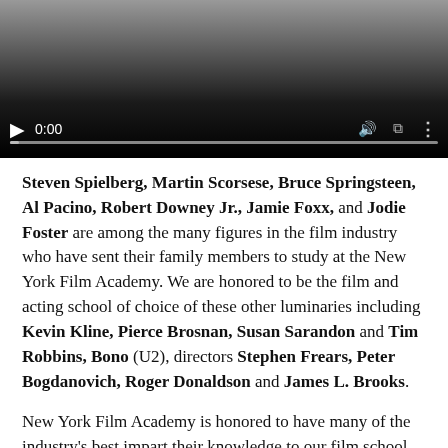[Figure (screenshot): Embedded video player showing a dark gradient background with playback controls: play button, time display '0:00', volume, fullscreen, and more options icons, with a progress bar at the bottom.]
Steven Spielberg, Martin Scorsese, Bruce Springsteen, Al Pacino, Robert Downey Jr., Jamie Foxx, and Jodie Foster are among the many figures in the film industry who have sent their family members to study at the New York Film Academy. We are honored to be the film and acting school of choice of these other luminaries including Kevin Kline, Pierce Brosnan, Susan Sarandon and Tim Robbins, Bono (U2), directors Stephen Frears, Peter Bogdanovich, Roger Donaldson and James L. Brooks.
New York Film Academy is honored to have many of the industry's best impart their knowledge to our film school students as guest speakers, including Kim Cattrall, Seth